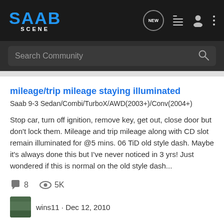SAAB SCENE
Search Community
mileage/trip mileage staying illuminated
Saab 9-3 Sedan/Combi/TurboX/AWD(2003+)/Conv(2004+)
Stop car, turn off ignition, remove key, get out, close door but don't lock them. Mileage and trip mileage along with CD slot remain illuminated for @5 mins. 06 TiD old style dash. Maybe it's always done this but I've never noticed in 3 yrs! Just wondered if this is normal on the old style dash...
8   5K
wins11 · Dec 12, 2010
illuminated   mileage   mileage or trip   staying